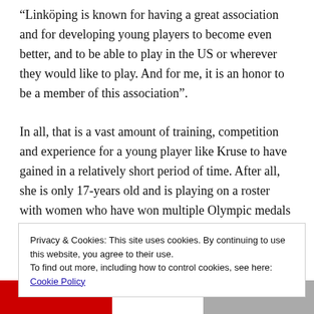“Linköping is known for having a great association and for developing young players to become even better, and to be able to play in the US or wherever they would like to play. And for me, it is an honor to be a member of this association”.
In all, that is a vast amount of training, competition and experience for a young player like Kruse to have gained in a relatively short period of time. After all, she is only 17-years old and is playing on a roster with women who have won multiple Olympic medals in some instances.
Needless to say, Kruse is enriched with the intangibles
Privacy & Cookies: This site uses cookies. By continuing to use this website, you agree to their use.
To find out more, including how to control cookies, see here:
Cookie Policy
Close and accept
[Figure (photo): Bottom portion of a photo partially visible at the bottom of the page, showing red, white and gray sections.]